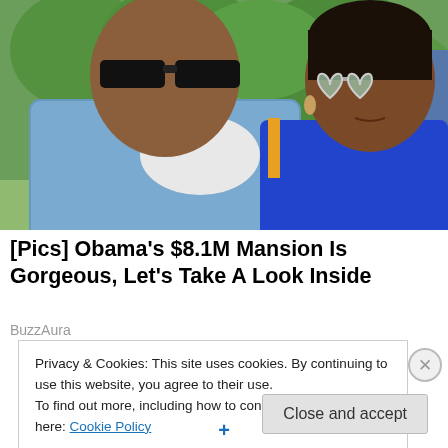[Figure (photo): A couple standing outdoors. The man on the left wears sunglasses and a blue checkered shirt. The woman on the right wears heart-shaped mirrored sunglasses and a blue top. Green trees visible in background.]
[Pics] Obama's $8.1M Mansion Is Gorgeous, Let's Take A Look Inside
BuzzAura
Privacy & Cookies: This site uses cookies. By continuing to use this website, you agree to their use.
To find out more, including how to control cookies, see here: Cookie Policy
Close and accept